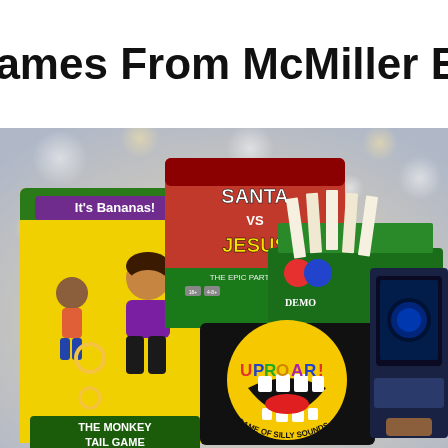Games From McMiller En
[Figure (photo): Collection of board games including 'It's Bananas! The Monkey Tail Game' (yellow box), 'Santa vs Jesus The Epic Party Game' (red/green box), 'Uproar! A Game of Silly Sounds' (black/yellow box), and a green card game box, arranged together against a bokeh light background.]